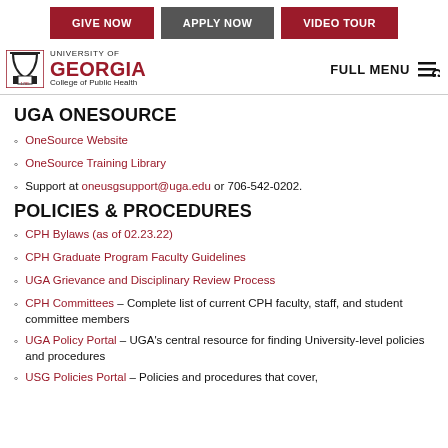GIVE NOW | APPLY NOW | VIDEO TOUR
[Figure (logo): University of Georgia College of Public Health logo with arch icon]
UGA ONESOURCE
OneSource Website
OneSource Training Library
Support at oneusgsupport@uga.edu or 706-542-0202.
POLICIES & PROCEDURES
CPH Bylaws (as of 02.23.22)
CPH Graduate Program Faculty Guidelines
UGA Grievance and Disciplinary Review Process
CPH Committees – Complete list of current CPH faculty, staff, and student committee members
UGA Policy Portal – UGA's central resource for finding University-level policies and procedures
USG Policies Portal – Policies and procedures that cover,